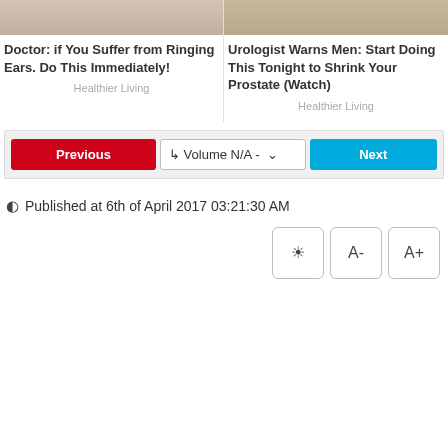[Figure (photo): Thumbnail image of person with ringing ears]
Doctor: if You Suffer from Ringing Ears. Do This Immediately!
Healthier Living
[Figure (photo): Thumbnail image related to prostate health]
Urologist Warns Men: Start Doing This Tonight to Shrink Your Prostate (Watch)
Healthier Living
Previous | 4 Volume N/A - ∨ | Next
Published at 6th of April 2017 03:21:30 AM
☼  A-  A+